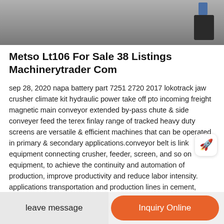[Figure (photo): Partial view of industrial machinery equipment on a concrete floor, with a paint can visible.]
Metso Lt106 For Sale 38 Listings Machinerytrader Com
sep 28, 2020 napa battery part 7251 2720 2017 lokotrack jaw crusher climate kit hydraulic power take off pto incoming freight magnetic main conveyor extended by-pass chute & side conveyer feed the terex finlay range of tracked heavy duty screens are versatile & efficient machines that can be operated in primary & secondary applications.conveyor belt is link equipment connecting crusher, feeder, screen, and so on equipment, to achieve the continuity and automation of production, improve productivity and reduce labor intensity. applications transportation and production lines in cement, mining, metallurgy, chemical, foundry, building materials and other industries, as well as production sites such as hydropower stations
leave message | Inquiry Online